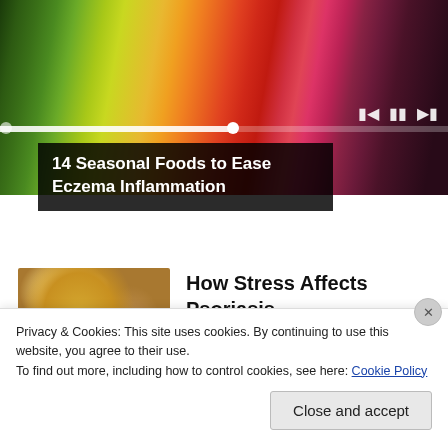[Figure (photo): Colorful assortment of seasonal fruits and vegetables arranged in a rainbow pattern — green vegetables on left (celery, broccoli, peas), yellow citrus and apples in middle, orange peppers, red tomatoes, and purple eggplant on right. Video player progress bar and media controls visible.]
14 Seasonal Foods to Ease Eczema Inflammation
[Figure (photo): Woman wearing a yellow sweater looking at her arm, possibly examining a skin condition such as psoriasis.]
How Stress Affects Psoriasis
HealthCentral.com
Privacy & Cookies: This site uses cookies. By continuing to use this website, you agree to their use.
To find out more, including how to control cookies, see here: Cookie Policy
Close and accept